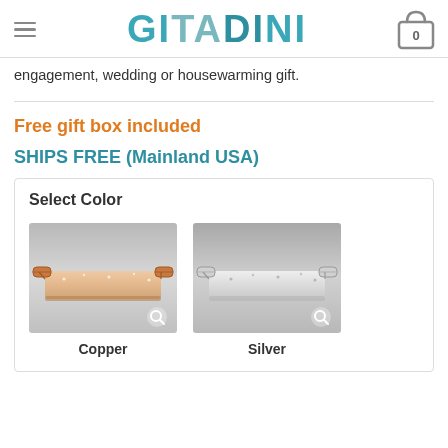GITADINI
engagement, wedding or housewarming gift.
Free gift box included
SHIPS FREE (Mainland USA)
Select Color
[Figure (photo): Copper colored glass tray with copper handles on grey background]
Copper
[Figure (photo): Silver colored glass tray with silver handles on grey background]
Silver